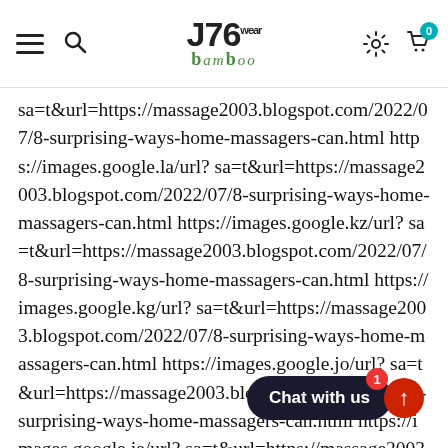J76 Bamboo Wear — navigation header with hamburger menu, search, logo, settings, and cart icons
sa=t&url=https://massage2003.blogspot.com/2022/07/8-surprising-ways-home-massagers-can.html https://images.google.la/url? sa=t&url=https://massage2003.blogspot.com/2022/07/8-surprising-ways-home-massagers-can.html https://images.google.kz/url? sa=t&url=https://massage2003.blogspot.com/2022/07/8-surprising-ways-home-massagers-can.html https://images.google.kg/url? sa=t&url=https://massage2003.blogspot.com/2022/07/8-surprising-ways-home-massagers-can.html https://images.google.jo/url? sa=t&url=https://massage2003.blogspot.com/2022/07/8-surprising-ways-home-massagers-can.html https://images.google.je/url? sa=t&url=https://massage2003.blogspot.com/2022/07/8-